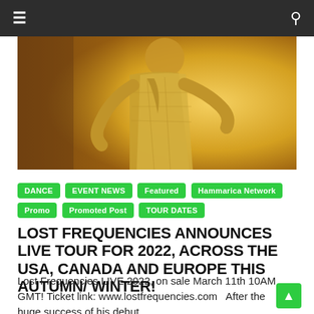≡  🔍
[Figure (photo): A person in a yellow/gold checked suit jacket dancing or moving dynamically against a warm yellow background. The figure is partially cropped showing the torso and arms.]
DANCE
EVENT NEWS
Featured
Hammarica Network
Promo
Promoted Post
TOUR DATES
LOST FREQUENCIES ANNOUNCES LIVE TOUR FOR 2022, ACROSS THE USA, CANADA AND EUROPE THIS AUTUMN/ WINTER!
Lost Frequencies LIVE 2022, on sale March 11th 10AM GMT! Ticket link: www.lostfrequencies.com  After the huge success of his debut